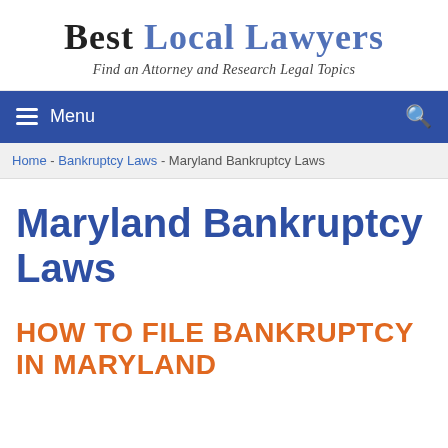Best Local Lawyers
Find an Attorney and Research Legal Topics
Menu
Home - Bankruptcy Laws - Maryland Bankruptcy Laws
Maryland Bankruptcy Laws
HOW TO FILE BANKRUPTCY IN MARYLAND